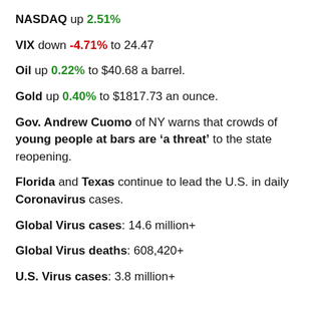NASDAQ up 2.51%
VIX down -4.71% to 24.47
Oil up 0.22% to $40.68 a barrel.
Gold up 0.40% to $1817.73 an ounce.
Gov. Andrew Cuomo of NY warns that crowds of young people at bars are ‘a threat’ to the state reopening.
Florida and Texas continue to lead the U.S. in daily Coronavirus cases.
Global Virus cases: 14.6 million+
Global Virus deaths: 608,420+
U.S. Virus cases: 3.8 million+